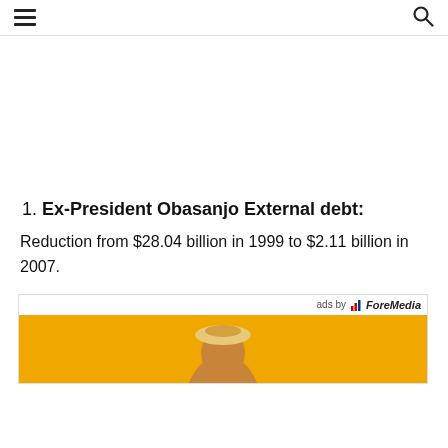≡  🔍
Ex-President Obasanjo External debt:
Reduction from $28.04 billion in 1999 to $2.11 billion in 2007.
[Figure (other): Advertisement banner with 'ads by ForeMedia' label and yellow background image showing a person in a hat]